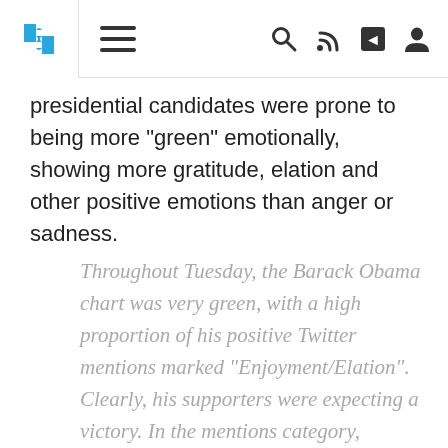[Navigation bar with puzzle logo, menu, search, RSS, share, and user icons]
presidential candidates were prone to being more "green" emotionally, showing more gratitude, elation and other positive emotions than anger or sadness.
Throughout Tuesday, the Barack Obama chart was very green, with a high proportion of his positive Twitter mentions marked “Enjoyment/Elation”. Clearly, his supporters were expecting a victory. In the mentions category, @BarackObama pulled away from